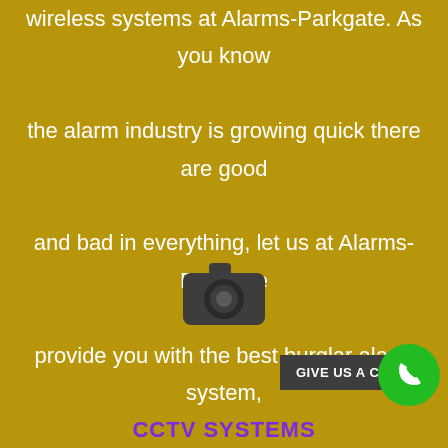wireless systems at Alarms-Parkgate. As you know the alarm industry is growing quick there are good and bad in everything, let us at Alarms-Parkgate provide you with the best burglar alarm system, small or large installation.
[Figure (illustration): Camera icon (dark grey rounded rectangle camera shape with lens circle)]
GIVE US A CALL!
[Figure (illustration): Green circle with white phone handset icon]
CCTV SYSTEMS